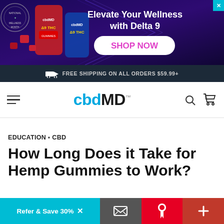[Figure (infographic): cbdMD advertisement banner with purple/dark background showing Delta 9 THC gummy products, 'Elevate Your Wellness with Delta 9' headline and 'SHOP NOW' button, National Wellness Month badge]
FREE SHIPPING ON ALL ORDERS $59.99+
[Figure (logo): cbdMD logo with navigation hamburger menu, search icon, and cart icon]
EDUCATION • CBD
How Long Does it Take for Hemp Gummies to Work?
Refer & Save 30%